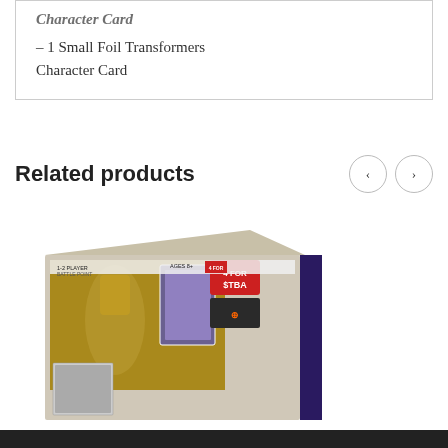– 1 Small Foil Transformers Character Card
Related products
[Figure (photo): Transformers trading card game product box, showing cards and a character figure on the packaging with purple and red branding.]